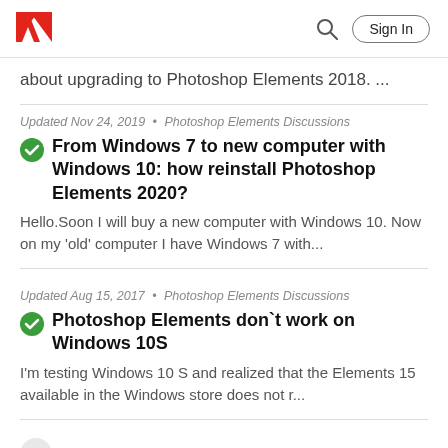Adobe logo | Search | Sign In
about upgrading to Photoshop Elements 2018. ...
Updated Nov 24, 2019 • Photoshop Elements Discussions
From Windows 7 to new computer with Windows 10: how reinstall Photoshop Elements 2020?
Hello.Soon I will buy a new computer with Windows 10. Now on my 'old' computer I have Windows 7 with...
Updated Aug 15, 2017 • Photoshop Elements Discussions
Photoshop Elements don`t work on Windows 10S
I'm testing Windows 10 S and realized that the Elements 15 available in the Windows store does not r...
1  2
Resources